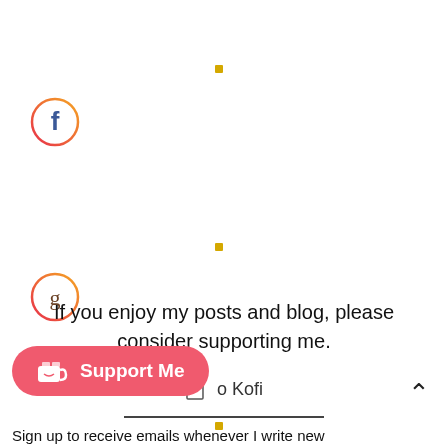[Figure (illustration): Facebook social media icon — circle with orange/red gradient border and lowercase 'f' inside]
[Figure (illustration): Goodreads social media icon — circle with orange/red gradient border and lowercase 'g' inside]
[Figure (illustration): Pinterest social media icon — circle with orange/red gradient border and lowercase 'p' inside]
[Figure (illustration): Bloglovin social media icon — circle with orange/red gradient border and 'B'' inside dark square]
[Figure (illustration): Accessibility icon — circle with person/wheelchair symbol inside, pink border]
If you enjoy my posts and blog, please consider supporting me.
[Figure (illustration): Ko-fi donation link with document icon and 'o Kofi' text]
[Figure (illustration): Support Me button — red/pink rounded rectangle with coffee cup icon and 'Support Me' text]
Sign up to receive emails whenever I write new...